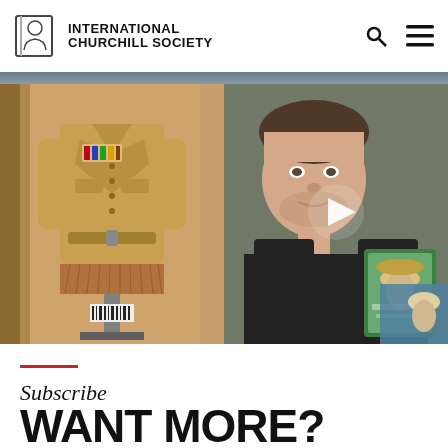INTERNATIONAL CHURCHILL SOCIETY
[Figure (photo): Two-panel photo grid. Left: A military uniform (tan/khaki jacket with medals/ribbons) displayed on a mannequin in a museum case. Right: A young man in a black shirt holding a book, with a play button overlay indicating a video, and a partial image of an elderly person with a hat in the lower right corner.]
Subscribe
WANT MORE?